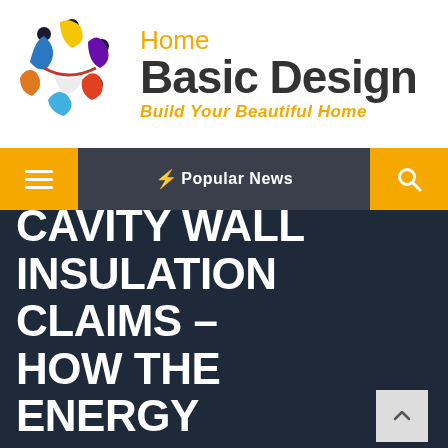[Figure (logo): Home Basic Design logo with colorful figures arranged in a circle and text 'Home Basic Design - Build Your Beautiful Home']
☰  ⚡ Popular News  🔍
CAVITY WALL INSULATION CLAIMS – HOW THE ENERGY